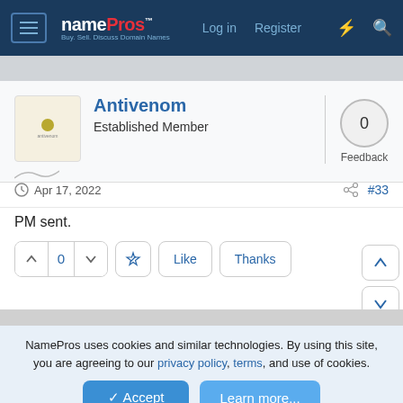namePros - Log in | Register
[Figure (screenshot): NamePros user profile card showing Antivenom, Established Member, with 0 Feedback score]
Apr 17, 2022   #33
PM sent.
0  Like  Thanks
NamePros uses cookies and similar technologies. By using this site, you are agreeing to our privacy policy, terms, and use of cookies.
Accept  Learn more...